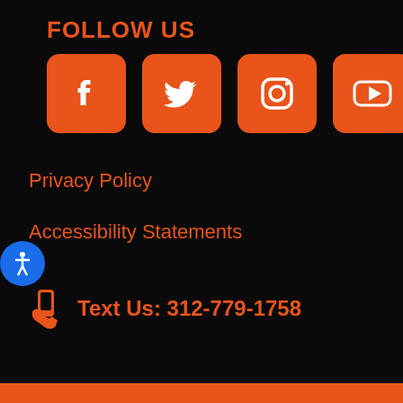FOLLOW US
[Figure (illustration): Four social media icon buttons (Facebook, Twitter, Instagram, YouTube) with orange rounded square backgrounds and white icons]
Privacy Policy
Accessibility Statements
Text Us: 312-779-1758
[Figure (illustration): Orange footer bar at bottom of page]